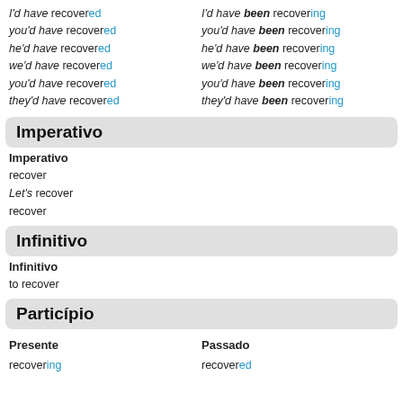I'd have recovered / I'd have been recovering
you'd have recovered / you'd have been recovering
he'd have recovered / he'd have been recovering
we'd have recovered / we'd have been recovering
you'd have recovered / you'd have been recovering
they'd have recovered / they'd have been recovering
Imperativo
Imperativo
recover
Let's recover
recover
Infinitivo
Infinitivo
to recover
Particípio
Presente / Passado
recovering / recovered